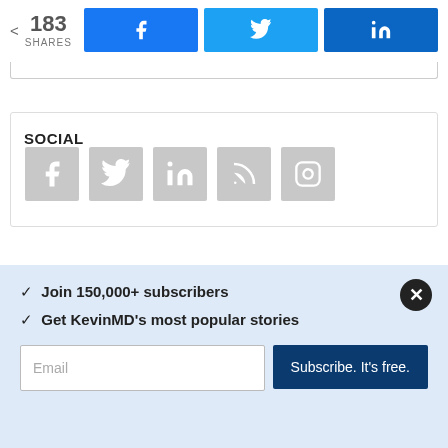[Figure (screenshot): Social share bar with 183 shares count and Facebook, Twitter, LinkedIn share buttons]
SOCIAL
[Figure (screenshot): Social media icons: Facebook, Twitter, LinkedIn, RSS, Instagram in gray square buttons]
CME SPOTLIGHTS
✓  Join 150,000+ subscribers
✓  Get KevinMD's most popular stories
Email  Subscribe. It's free.